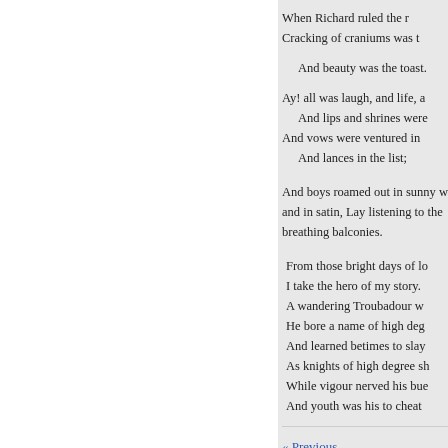When Richard ruled the r...
Cracking of craniums was t...
And beauty was the toast.
Ay! all was laugh, and life, ...
And lips and shrines were...
And vows were ventured in...
And lances in the list;
And boys roamed out in sunny w... and in satin, Lay listening to the ... breathing balconies.
From those bright days of lo...
I take the hero of my story.
A wandering Troubadour w...
He bore a name of high deg...
And learned betimes to slay...
As knights of high degree sh...
While vigour nerved his bue...
And youth was his to cheat ...
« Previous